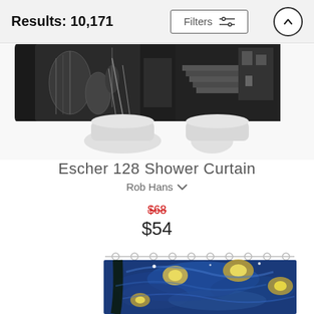Results: 10,171
[Figure (screenshot): Filters button with sliders icon and up-arrow circle button in header bar]
[Figure (photo): Escher 128 Shower Curtain product image - black and white surrealist architectural/mechanical scene on a shower curtain displayed on a rack]
Escher 128 Shower Curtain
Rob Hans
$68 (crossed out original price)
$54
[Figure (photo): Starry Night shower curtain product image - Van Gogh's Starry Night painting printed on a shower curtain with metal rings at top, partially visible]